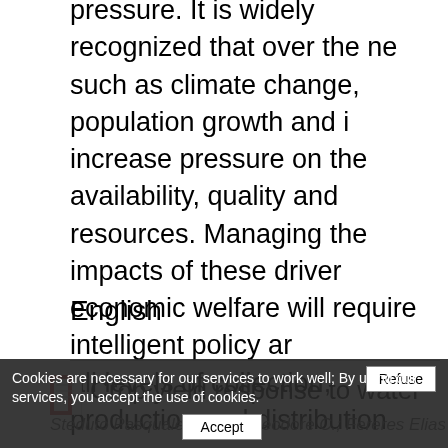pressure. It is widely recognized that over the next decades, drivers such as climate change, population growth and increased will increase pressure on the availability, quality and use of water resources. Managing the impacts of these drivers on human and economic welfare will require intelligent policy and management at all levels of collection, production and distribution.
English
Crop yield response to water
Steduto Pasquale; Hsiao Theodore C.; Fereres Elias; irrigation & drainage paper. FAO, by,
Food production and water resources...
Cookies are necessary for our services to work well; By using our services, you accept the use of cookies.